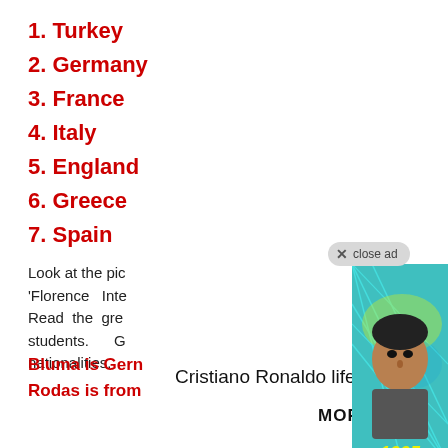1. Turkey
2. Germany
3. France
4. Italy
5. England
6. Greece
7. Spain
Look at the pic 'Florence Inte Read the gre students. G nationalities.
[Figure (photo): Two side-by-side photos of Cristiano Ronaldo: left photo labeled '1995' showing him as a young boy behind a goal net with teal/cyan netting, right photo labeled '2017' showing him as an adult in a car wearing a suit. Ad close button visible above.]
Bluma is Germ Rodas is from
Cristiano Ronaldo life story.
MORE →